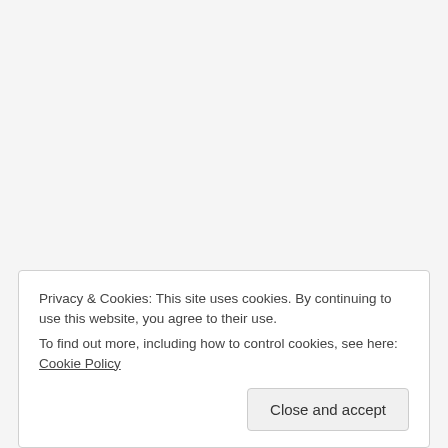Privacy & Cookies: This site uses cookies. By continuing to use this website, you agree to their use.
To find out more, including how to control cookies, see here: Cookie Policy
Close and accept
July 2022